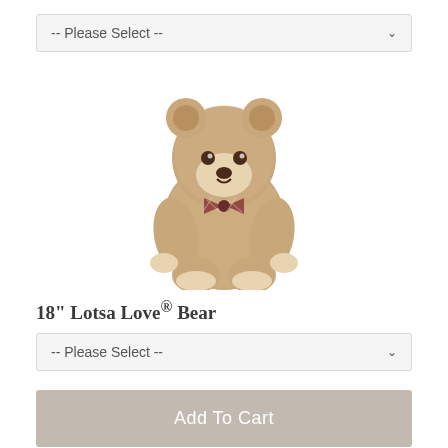[Figure (other): A dropdown UI element with text '-- Please Select --' and a chevron arrow on the right]
[Figure (photo): A plush teddy bear toy with tan/beige fur, sitting upright, wearing a brown gingham bow tie. The bear has white paw pads and a small brown nose.]
18" Lotsa Love® Bear
[Figure (other): A dropdown UI element with text '-- Please Select --' and a chevron arrow on the right]
[Figure (other): A button labeled 'Add To Cart' with a gray-beige background]